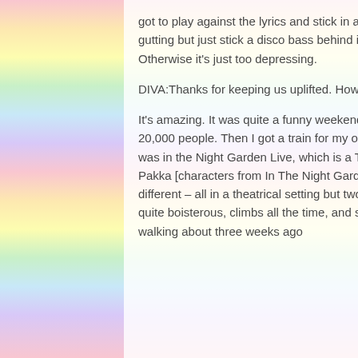got to play against the lyrics and stick in a disco bass. There are so many great disco tracks that are so gutting but just stick a disco bass behind it and it plays in juxtaposition to the theme of the song. Otherwise it's just too depressing.
DIVA:Thanks for keeping us uplifted. How's family life treating you now you're a mum?
It's amazing. It was quite a funny weekend really. I played at London Pride, which we reckon was about 20,000 people. Then I got a train for my own gig at Eastbourne bandstand that night. The next day I was in the Night Garden Live, which is a TV programme for babies so it was all Iggle Piggle and Makka Pakka [characters from In The Night Garden]. My Saturday and Sunday couldn't have been any more different – all in a theatrical setting but two ends of the spectrum. And Annie's fantastic. She's really quite boisterous, climbs all the time, and she's very vocal. She's funny, very funny. She only started walking about three weeks ago